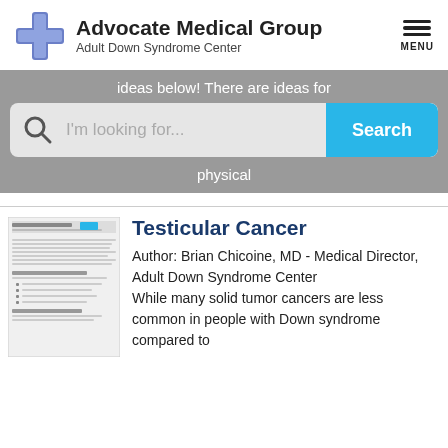[Figure (logo): Advocate Medical Group logo with blue cross icon, title 'Advocate Medical Group' and subtitle 'Adult Down Syndrome Center', plus hamburger menu with MENU label]
ideas below! There are ideas for
[Figure (screenshot): Search bar with magnifying glass icon, placeholder text 'I'm looking for...' and a cyan 'Search' button]
physical
[Figure (screenshot): Thumbnail of the Testicular Cancer article document]
Testicular Cancer
Author: Brian Chicoine, MD - Medical Director, Adult Down Syndrome Center
While many solid tumor cancers are less common in people with Down syndrome compared to